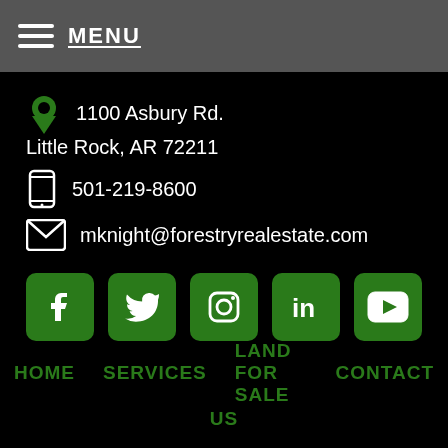MENU
1100 Asbury Rd.
Little Rock, AR 72211
501-219-8600
mknight@forestryrealestate.com
[Figure (infographic): Social media icons: Facebook, Twitter, Instagram, LinkedIn, YouTube — all with green rounded square backgrounds]
HOME   SERVICES   LAND FOR SALE   CONTACT US